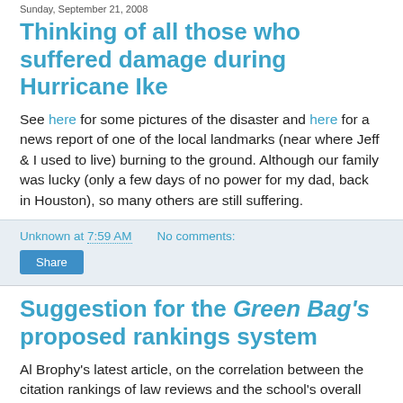Sunday, September 21, 2008
Thinking of all those who suffered damage during Hurricane Ike
See here for some pictures of the disaster and here for a news report of one of the local landmarks (near where Jeff & I used to live) burning to the ground. Although our family was lucky (only a few days of no power for my dad, back in Houston), so many others are still suffering.
Unknown at 7:59 AM   No comments:
Suggestion for the Green Bag's proposed rankings system
Al Brophy's latest article, on the correlation between the citation rankings of law reviews and the school's overall rankings, is a new must-read (see here).